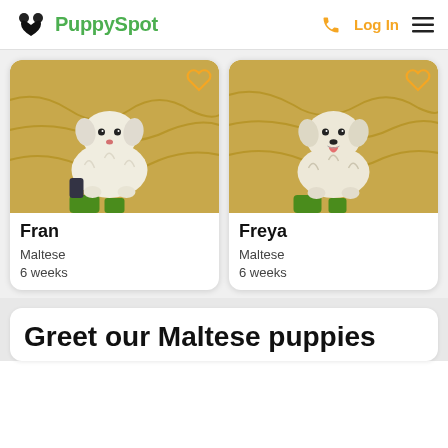PuppySpot
[Figure (photo): Puppy card for Fran: a white Maltese puppy sitting on a yellow blanket outdoors. Name: Fran, Breed: Maltese, Age: 6 weeks.]
[Figure (photo): Puppy card for Freya: a white Maltese puppy with tongue out sitting on a yellow blanket outdoors. Name: Freya, Breed: Maltese, Age: 6 weeks.]
Greet our Maltese puppies